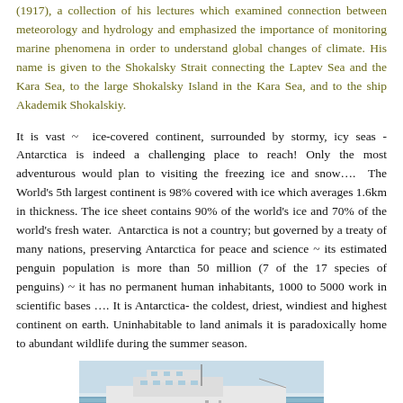(1917), a collection of his lectures which examined connection between meteorology and hydrology and emphasized the importance of monitoring marine phenomena in order to understand global changes of climate. His name is given to the Shokalsky Strait connecting the Laptev Sea and the Kara Sea, to the large Shokalsky Island in the Kara Sea, and to the ship Akademik Shokalskiy.
It is vast ~ ice-covered continent, surrounded by stormy, icy seas - Antarctica is indeed a challenging place to reach! Only the most adventurous would plan to visiting the freezing ice and snow…. The World's 5th largest continent is 98% covered with ice which averages 1.6km in thickness. The ice sheet contains 90% of the world's ice and 70% of the world's fresh water. Antarctica is not a country; but governed by a treaty of many nations, preserving Antarctica for peace and science ~ its estimated penguin population is more than 50 million (7 of the 17 species of penguins) ~ it has no permanent human inhabitants, 1000 to 5000 work in scientific bases …. It is Antarctica- the coldest, driest, windiest and highest continent on earth. Uninhabitable to land animals it is paradoxically home to abundant wildlife during the summer season.
[Figure (photo): Photo of the ship Akademik Shokalskiy at sea, showing the vessel with red hull stripe and white superstructure against a light sky and water background.]